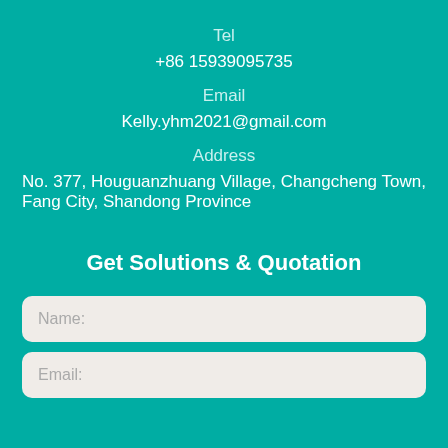Tel
+86 15939095735
Email
Kelly.yhm2021@gmail.com
Address
No. 377, Houguanzhuang Village, Changcheng Town, Fang City, Shandong Province
Get Solutions & Quotation
Name:
Email: